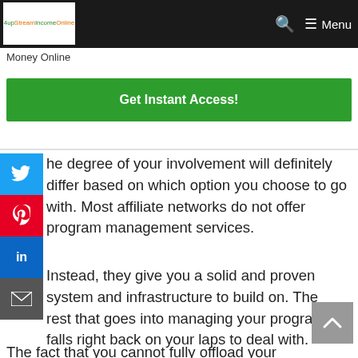4upStreamIncomeOnline — Menu
Money Online
Get Instant Access!
he degree of your involvement will definitely differ based on which option you choose to go with. Most affiliate networks do not offer program management services.
Instead, they give you a solid and proven system and infrastructure to build on. The rest that goes into managing your program falls right back on your laps to deal with.
The fact that you cannot fully offload your